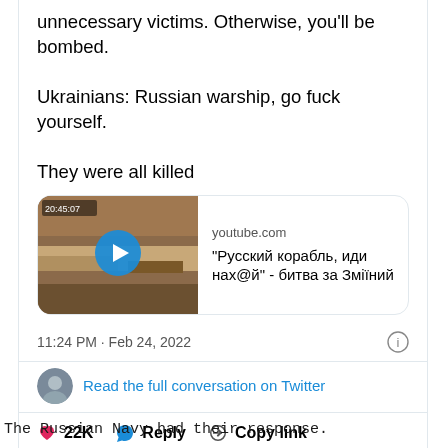unnecessary victims. Otherwise, you'll be bombed.

Ukrainians: Russian warship, go fuck yourself.

They were all killed
[Figure (screenshot): YouTube video embed showing aerial footage with play button. Domain: youtube.com. Title: "Русский корабль, иди нах@й" - битва за Зміїний]
11:24 PM · Feb 24, 2022
Read the full conversation on Twitter
22K   Reply   Copy link
Read 647 replies
The Russian Navy had their response.